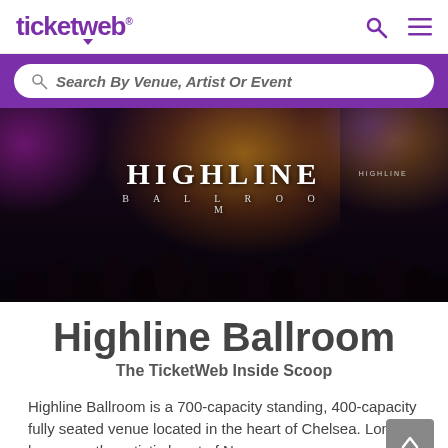TicketWeb
Search By Venue, Artist Or Event
[Figure (photo): Highline Ballroom venue interior with audience silhouettes and stage lighting. Large 'HIGHLINE BALLROOM' text overlay on the image.]
Highline Ballroom
The TicketWeb Inside Scoop
Highline Ballroom is a 700-capacity standing, 400-capacity fully seated venue located in the heart of Chelsea. Long known as the artistic heart of New